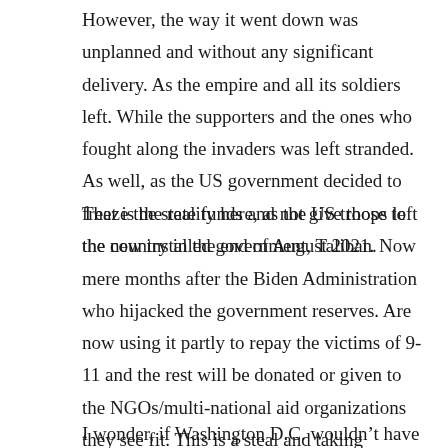However, the way it went down was unplanned and without any significant delivery. As the empire and all its soldiers left. While the supporters and the ones who fought along the invaders was left stranded. As well, as the US government decided to freeze the state funds and not give those to the new installed government, Taliban.
That is the reality here, as the US troops left the country in the end of August 2021. Now mere months after the Biden Administration who hijacked the government reserves. Are now using it partly to repay the victims of 9-11 and the rest will be donated or given to the NGOs/multi-national aid organizations they see fit. This is a steal and taking another nations government reserves. While deciding it’s fate.
I wonder, if Washington D.C. wouldn’t have taken kindly,